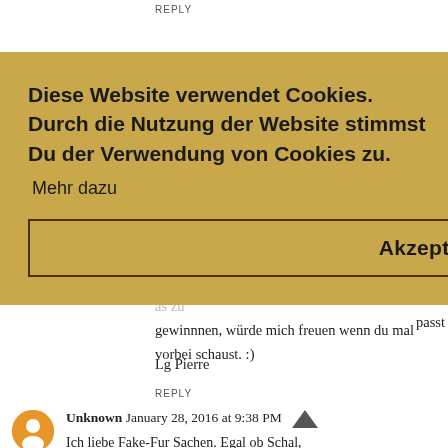REPLY
gewinnnen, würde mich freuen wenn du mal vorbei schaust. :)
Lg Pierre
REPLY
Unknown January 28, 2016 at 9:38 PM
Ich liebe Fake-Fur Sachen. Egal ob Schal, Jacke oder an Schuhen liebe ich ihn,
[Figure (infographic): Cookie consent overlay banner with golden/tan background. Contains text 'Diese Website verwendet Cookies. Durch die Nutzung der Website stimmst Du der Verwendung von Cookies zu.' with a 'Mehr dazu' link and an 'Akzeptieren' button.]